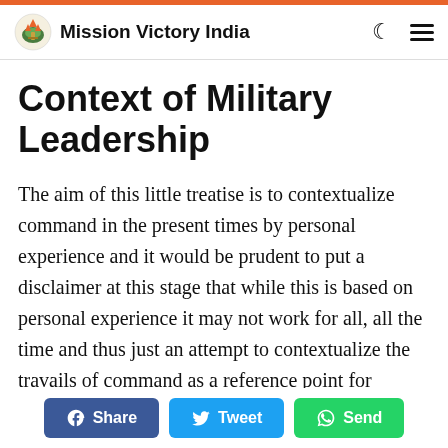Mission Victory India
Context of Military Leadership
The aim of this little treatise is to contextualize command in the present times by personal experience and it would be prudent to put a disclaimer at this stage that while this is based on personal experience it may not work for all, all the time and thus just an attempt to contextualize the travails of command as a reference point for anyone willing to use it. Following paragraphs are covering a few key